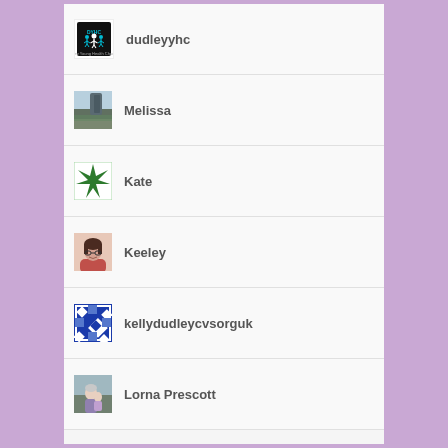dudleyyhc
Melissa
Kate
Keeley
kellydudleycvsorguk
Lorna Prescott